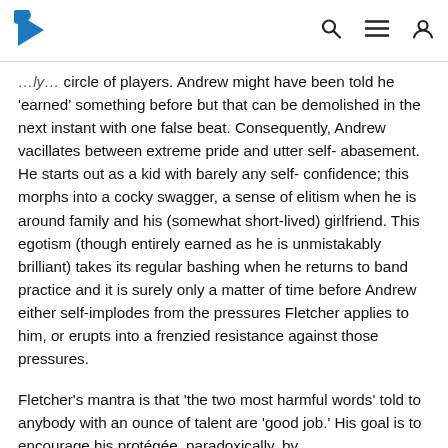[logo] [search] [menu] [user]
circle of players. Andrew might have been told he 'earned' something before but that can be demolished in the next instant with one false beat. Consequently, Andrew vacillates between extreme pride and utter self-abasement. He starts out as a kid with barely any self-confidence; this morphs into a cocky swagger, a sense of elitism when he is around family and his (somewhat short-lived) girlfriend. This egotism (though entirely earned as he is unmistakably brilliant) takes its regular bashing when he returns to band practice and it is surely only a matter of time before Andrew either self-implodes from the pressures Fletcher applies to him, or erupts into a frenzied resistance against those pressures.
Fletcher's mantra is that 'the two most harmful words' told to anybody with an ounce of talent are 'good job.' His goal is to encourage his protégée, paradoxically, by